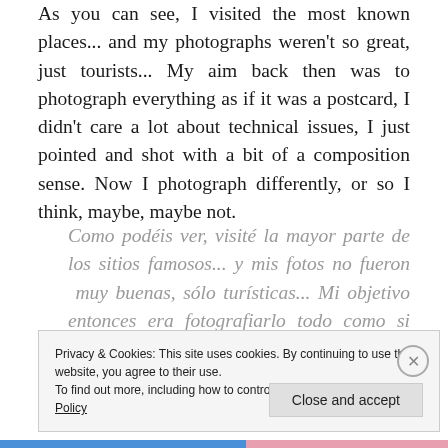As you can see, I visited the most known places... and my photographs weren't so great, just tourists... My aim back then was to photograph everything as if it was a postcard, I didn't care a lot about technical issues, I just pointed and shot with a bit of a composition sense. Now I photograph differently, or so I think, maybe, maybe not.
Como podéis ver, visité la mayor parte de los sitios famosos... y mis fotos no fueron muy buenas, sólo turísticas... Mi objetivo entonces era fotografiarlo todo como si fuera una postal, no me preocupaba mucho por las cuestiones técnicas, simplemente miraba y
Privacy & Cookies: This site uses cookies. By continuing to use this website, you agree to their use.
To find out more, including how to control cookies, see here: Cookie Policy